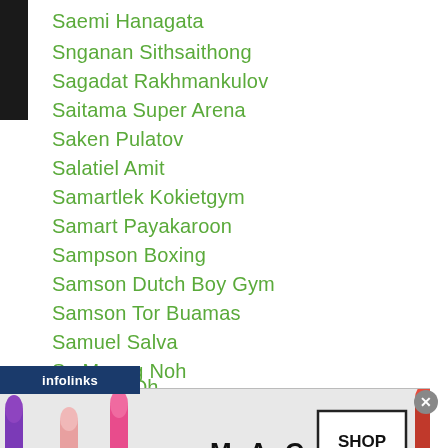Saemi Hanagata
Snenganan Sithsaithong
Sagadat Rakhmankulov
Saitama Super Arena
Saken Pulatov
Salatiel Amit
Samartlek Kokietgym
Samart Payakaroon
Sampson Boxing
Samson Dutch Boy Gym
Samson Tor Buamas
Samuel Salva
Sa Myung Noh
Sana Hazuki
Sang Geun Lee
Sang un Oh
[Figure (screenshot): MAC Cosmetics advertisement banner showing lipsticks in purple, pink, and red colors with MAC logo and SHOP NOW button, overlaid with infolinks toolbar]